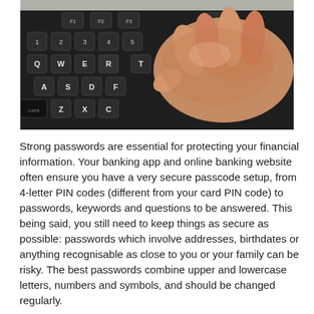[Figure (photo): Close-up photograph of a person's hand typing on a black keyboard, showing keys including Q, W, E, R, A, S, D, F, Z, X, C and number row keys.]
Strong passwords are essential for protecting your financial information. Your banking app and online banking website often ensure you have a very secure passcode setup, from 4-letter PIN codes (different from your card PIN code) to passwords, keywords and questions to be answered. This being said, you still need to keep things as secure as possible: passwords which involve addresses, birthdates or anything recognisable as close to you or your family can be risky. The best passwords combine upper and lowercase letters, numbers and symbols, and should be changed regularly.